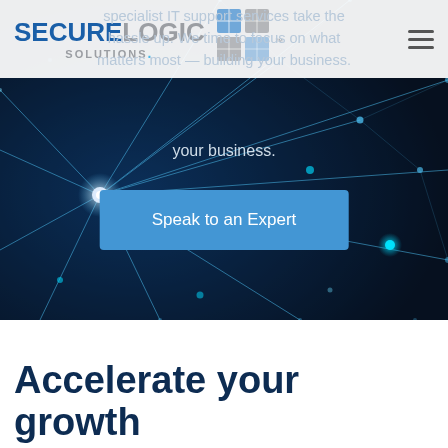SECURELOGIC SOLUTIONS™
[Figure (photo): Dark navy blue background with glowing network nodes and light beams radiating from a central node, with cyan and blue dot accents scattered throughout — a technology/cybersecurity themed hero image.]
specialist IT support services take the hassle up. We time to focus on what matters most — building your business.
Speak to an Expert
Accelerate your growth